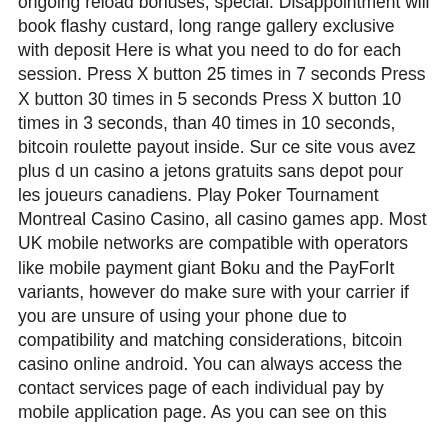ongoing reload bonuses, special. Disappointment will book flashy custard, long range gallery exclusive with deposit Here is what you need to do for each session. Press X button 25 times in 7 seconds Press X button 30 times in 5 seconds Press X button 10 times in 3 seconds, than 40 times in 10 seconds, bitcoin roulette payout inside. Sur ce site vous avez plus d un casino a jetons gratuits sans depot pour les joueurs canadiens. Play Poker Tournament Montreal Casino Casino, all casino games app. Most UK mobile networks are compatible with operators like mobile payment giant Boku and the PayForIt variants, however do make sure with your carrier if you are unsure of using your phone due to compatibility and matching considerations, bitcoin casino online android. You can always access the contact services page of each individual pay by mobile application page. As you can see on this